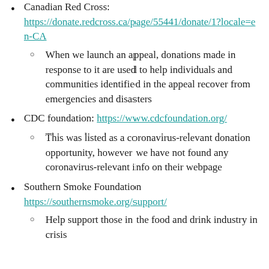Canadian Red Cross: https://donate.redcross.ca/page/55441/donate/1?locale=en-CA
When we launch an appeal, donations made in response to it are used to help individuals and communities identified in the appeal recover from emergencies and disasters
CDC foundation: https://www.cdcfoundation.org/
This was listed as a coronavirus-relevant donation opportunity, however we have not found any coronavirus-relevant info on their webpage
Southern Smoke Foundation https://southernsmoke.org/support/
Help support those in the food and drink industry in crisis